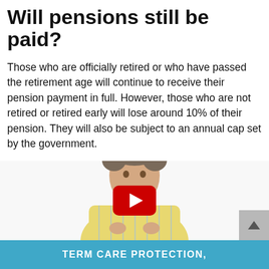Will pensions still be paid?
Those who are officially retired or who have passed the retirement age will continue to receive their pension payment in full. However, those who are not retired or retired early will lose around 10% of their pension. They will also be subject to an annual cap set by the government.
[Figure (photo): YouTube video thumbnail showing a middle-aged man in a yellow plaid shirt with a YouTube play button overlay in the center]
TERM CARE PROTECTION,